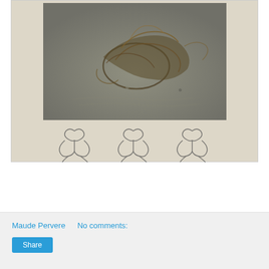[Figure (photo): Blog post page showing a photo of seaweed/driftwood on wet sand beach, with three decorative script/calligraphy icons below it, on a beige/tan background panel]
Maude Pervere    No comments:
Share